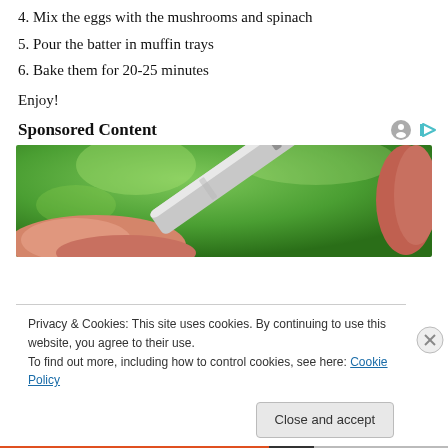4. Mix the eggs with the mushrooms and spinach
5. Pour the batter in muffin trays
6. Bake them for 20-25 minutes
Enjoy!
Sponsored Content
[Figure (photo): Hand holding a silver tube or pen-like device against a green blurred background]
Privacy & Cookies: This site uses cookies. By continuing to use this website, you agree to their use.
To find out more, including how to control cookies, see here: Cookie Policy